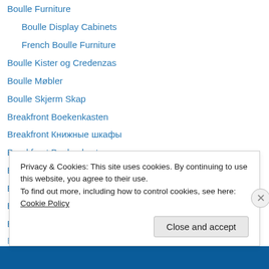Boulle Furniture
Boulle Display Cabinets
French Boulle Furniture
Boulle Kister og Credenzas
Boulle Møbler
Boulle Skjerm Skap
Breakfront Boekenkasten
Breakfront Книжные шкафы
Breakfront Boekenkasten
Breakfront Bokhyller
Breakfront Bokhyller
Breakfront Bookcases
Breakfront Bücherregale
Breakfront Libraries
Privacy & Cookies: This site uses cookies. By continuing to use this website, you agree to their use.
To find out more, including how to control cookies, see here: Cookie Policy
Close and accept